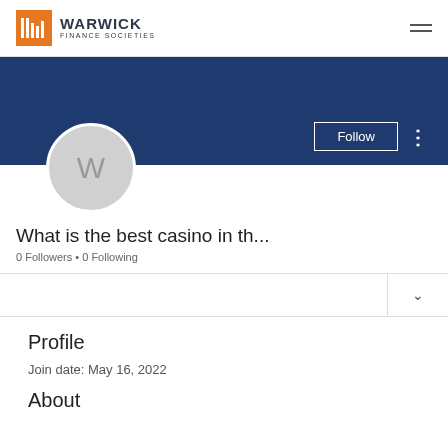WARWICK FINANCE SOCIETIES
[Figure (screenshot): Warwick Finance Societies profile page screenshot showing banner, avatar with letter W, Follow button, profile name 'What is the best casino in th...', 0 Followers, 0 Following, Profile section with Join date May 16 2022, and About heading]
What is the best casino in th...
0 Followers • 0 Following
Profile
Join date: May 16, 2022
About